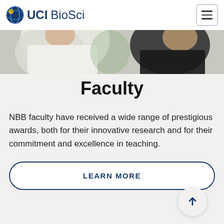UCI BioSci
[Figure (photo): Partial view of people in a lab or academic setting wearing white coats]
Faculty
NBB faculty have received a wide range of prestigious awards, both for their innovative research and for their commitment and excellence in teaching.
LEARN MORE